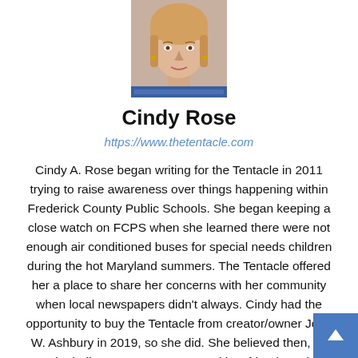[Figure (photo): Headshot photo of Cindy Rose, a woman with blonde hair wearing a blue patterned top]
Cindy Rose
https://www.thetentacle.com
Cindy A. Rose began writing for the Tentacle in 2011 trying to raise awareness over things happening within Frederick County Public Schools. She began keeping a close watch on FCPS when she learned there were not enough air conditioned buses for special needs children during the hot Maryland summers. The Tentacle offered her a place to share her concerns with her community when local newspapers didn't always. Cindy had the opportunity to buy the Tentacle from creator/owner John W. Ashbury in 2019, so she did. She believed then, as she believes now, our communities, friends and neighbors have important things to say that needs to be shared with those living around them. Large corporate news companies don't always share in those passions and concerns. The Tentacle is a local